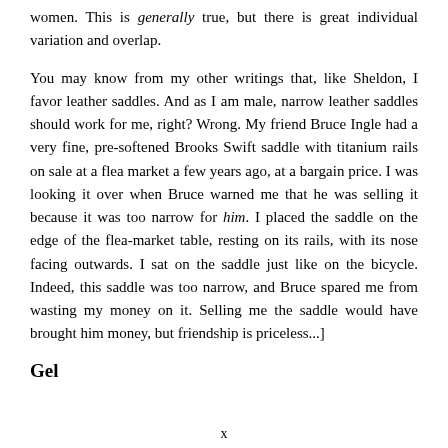women. This is generally true, but there is great individual variation and overlap.
You may know from my other writings that, like Sheldon, I favor leather saddles. And as I am male, narrow leather saddles should work for me, right? Wrong. My friend Bruce Ingle had a very fine, pre-softened Brooks Swift saddle with titanium rails on sale at a flea market a few years ago, at a bargain price. I was looking it over when Bruce warned me that he was selling it because it was too narrow for him. I placed the saddle on the edge of the flea-market table, resting on its rails, with its nose facing outwards. I sat on the saddle just like on the bicycle. Indeed, this saddle was too narrow, and Bruce spared me from wasting my money on it. Selling me the saddle would have brought him money, but friendship is priceless...]
Gel
x